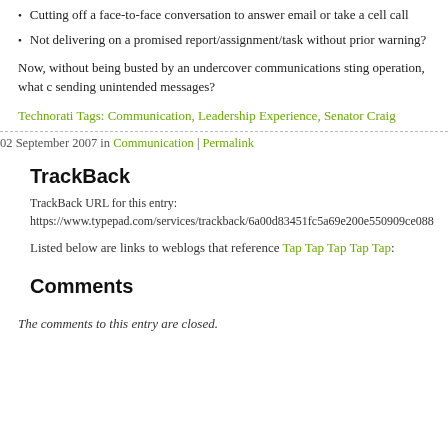Cutting off a face-to-face conversation to answer email or take a cell call
Not delivering on a promised report/assignment/task without prior warning?
Now, without being busted by an undercover communications sting operation, what c… sending unintended messages?
Technorati Tags: Communication, Leadership Experience, Senator Craig
02 September 2007 in Communication | Permalink
TrackBack
TrackBack URL for this entry:
https://www.typepad.com/services/trackback/6a00d83451fc5a69e200e550909ce088…
Listed below are links to weblogs that reference Tap Tap Tap Tap Tap:
Comments
The comments to this entry are closed.